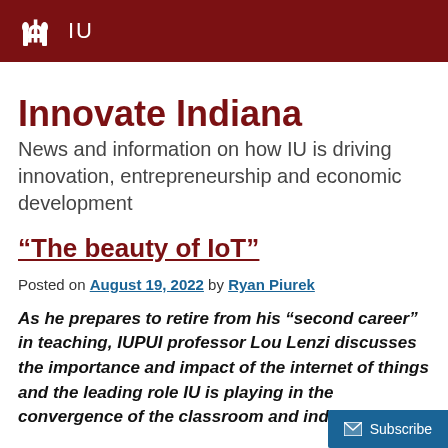IU
Innovate Indiana
News and information on how IU is driving innovation, entrepreneurship and economic development
“The beauty of IoT”
Posted on August 19, 2022 by Ryan Piurek
As he prepares to retire from his “second career” in teaching, IUPUI professor Lou Lenzi discusses the importance and impact of the internet of things and the leading role IU is playing in the convergence of the classroom and industry.